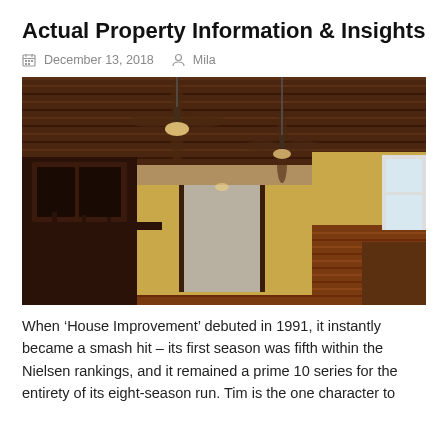Actual Property Information & Insights
December 13, 2018   Mila
[Figure (photo): Interior of a large room with dark wood ceiling, ceiling fans, hardwood floors, an ornate dark wood bookcase/cabinet on the left, an open doorway in the center leading to another room, and a window on the right. Yellow/gold painted walls.]
When ‘House Improvement’ debuted in 1991, it instantly became a smash hit – its first season was fifth within the Nielsen rankings, and it remained a prime 10 series for the entirety of its eight-season run. Tim is the one character to